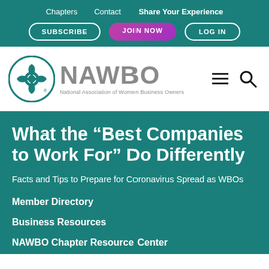Chapters   Contact   Share Your Experience
SUBSCRIBE   JOIN NOW   LOG IN
[Figure (logo): NAWBO logo — teal circle with interlocking swirl design, beside the text NAWBO and tagline National Association of Women Business Owners]
What the “Best Companies to Work For” Do Differently
Facts and Tips to Prepare for Coronavirus Spread as WBOs
Member Directory
Business Resources
NAWBO Chapter Resource Center